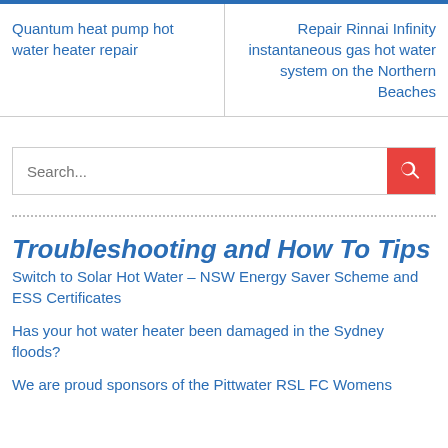Quantum heat pump hot water heater repair
Repair Rinnai Infinity instantaneous gas hot water system on the Northern Beaches
Search...
Troubleshooting and How To Tips
Switch to Solar Hot Water – NSW Energy Saver Scheme and ESS Certificates
Has your hot water heater been damaged in the Sydney floods?
We are proud sponsors of the Pittwater RSL FC Womens